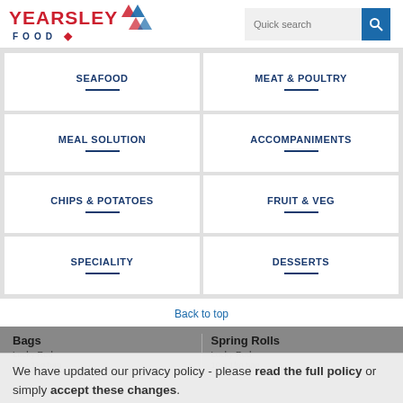[Figure (logo): Yearsley Food logo with red text and diamond graphic]
[Figure (other): Quick search bar with blue search button]
SEAFOOD
MEAT & POULTRY
MEAL SOLUTION
ACCOMPANIMENTS
CHIPS & POTATOES
FRUIT & VEG
SPECIALITY
DESSERTS
Back to top
Bags
Spring Rolls
Lucky Red
Lucky Red
10 x 1kg bag
We have updated our privacy policy - please read the full policy or simply accept these changes.